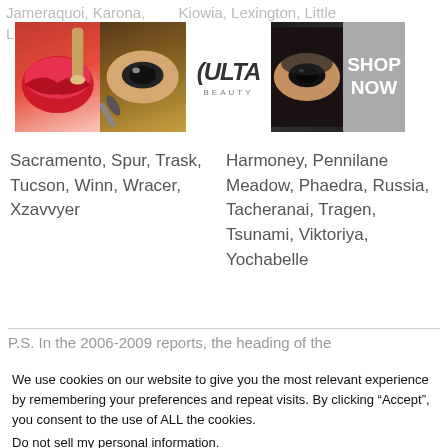Jameraquoi, Karona, Kiowia, Lexington, Little Lake Razor
[Figure (advertisement): Ulta Beauty cosmetics advertisement banner showing makeup products, a brush, eyes, and SHOP NOW button]
Sacramento, Spur, Trask, Tucson, Winn, Wracer, Xzavvyer
Harmoney, Pennilane Meadow, Phaedra, Russia, Tacheranai, Tragen, Tsunami, Viktoriya, Yochabelle
P.S. In the 2006-2009 reports, the heading of the
We use cookies on our website to give you the most relevant experience by remembering your preferences and repeat visits. By clicking “Accept”, you consent to the use of ALL the cookies.
Do not sell my personal information.
[Figure (advertisement): Victoria's Secret pink advertisement banner with model, VS logo, SHOP THE COLLECTION text, and SHOP NOW button]